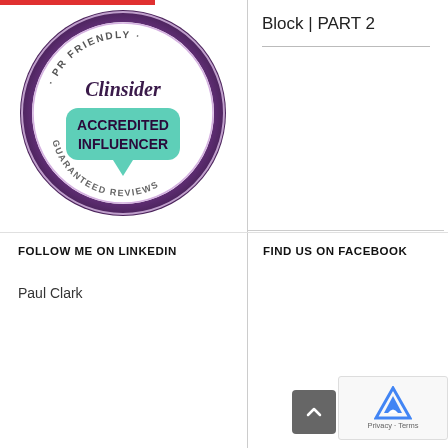[Figure (logo): Clinsider PR Friendly Accredited Influencer Guaranteed Reviews badge - circular badge with purple/teal colors]
Block | PART 2
FOLLOW ME ON LINKEDIN
FIND US ON FACEBOOK
Paul Clark